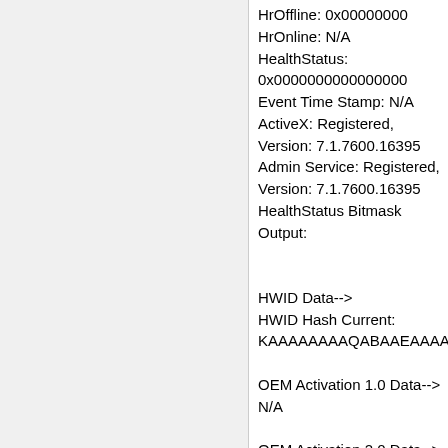HrOffline: 0x00000000
HrOnline: N/A
HealthStatus: 0x0000000000000000
Event Time Stamp: N/A
ActiveX: Registered, Version: 7.1.7600.16395
Admin Service: Registered, Version: 7.1.7600.16395
HealthStatus Bitmask Output:


HWID Data-->
HWID Hash Current: KAAAAAAAAQABAAEAAAABAAAAQABAAEAln1+dgpTfnFaD7KCQOmWYw==

OEM Activation 1.0 Data-->
N/A

OEM Activation 2.0 Data-->
BIOS valid for OA 2.0: yes, but no SLIC table
Windows marker version: N/A
OEMID and OEMTableID Consistent: N/A
BIOS Information:
  ACPI Table Name OEMID Value